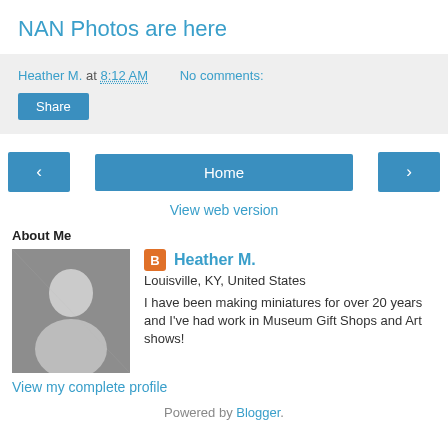NAN Photos are here
Heather M. at 8:12 AM   No comments:
Share
< Home >
View web version
About Me
Heather M.
Louisville, KY, United States
I have been making miniatures for over 20 years and I've had work in Museum Gift Shops and Art shows!
View my complete profile
Powered by Blogger.